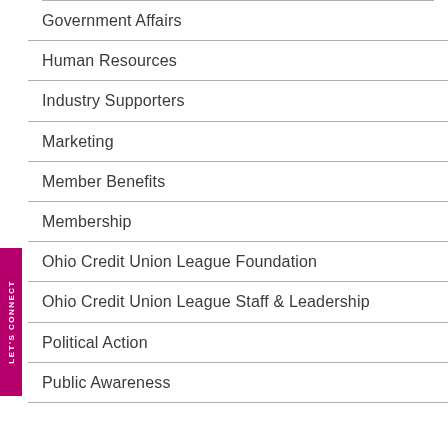Government Affairs
Human Resources
Industry Supporters
Marketing
Member Benefits
Membership
Ohio Credit Union League Foundation
Ohio Credit Union League Staff & Leadership
Political Action
Public Awareness